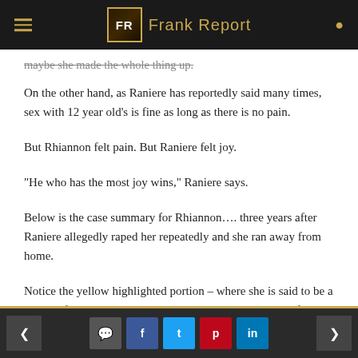Frank Report
maybe she made the whole thing up.
On the other hand, as Raniere has reportedly said many times, sex with 12 year old’s is fine as long as there is no pain.
But Rhiannon felt pain. But Raniere felt joy.
“He who has the most joy wins,” Raniere says.
Below is the case summary for Rhiannon…. three years after Raniere allegedly raped her repeatedly and she ran away from home.
Notice the yellow highlighted portion – where she is said to be a victim of suspected sexual molestation. This occurred before she failed 7th
< comment f t p in >